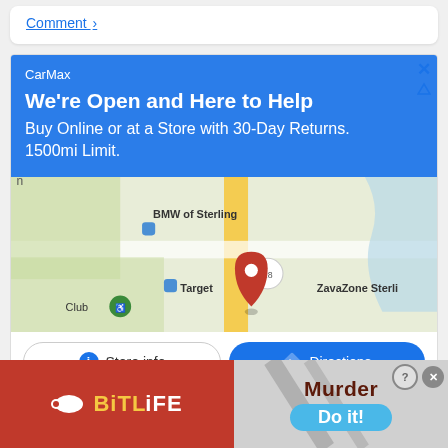Comment >
[Figure (screenshot): CarMax advertisement with blue header reading 'We're Open and Here to Help, Buy Online or at a Store with 30-Day Returns. 1500mi Limit.', a Google Maps section showing BMW of Sterling, Target, ZavaZone Sterling locations, and buttons for Store info and Directions]
AdChoices  Sponsored
[Figure (screenshot): BitLife mobile game advertisement banner with red background on left showing BitLife logo and sperm icon, and gray section on right showing 'Murder' text and 'Do it!' blue button, with close X and question mark icons]